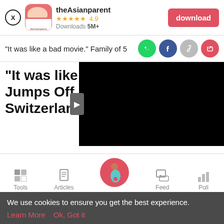[Figure (screenshot): App download banner for theAsianparent app with close button, app icon, 4.9 star rating, 5M+ downloads, and download button]
"It was like a bad movie." Family of 5
"It was like Jumps Off Fr Switzerland
[Figure (screenshot): Bottom navigation bar with Tools, Articles, Feed, Poll icons and a central pink pregnant woman icon]
We use cookies to ensure you get the best experience.
Learn More   Ok, Got it